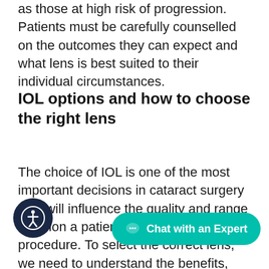as those at high risk of progression. Patients must be carefully counselled on the outcomes they can expect and what lens is best suited to their individual circumstances.
IOL options and how to choose the right lens
The choice of IOL is one of the most important decisions in cataract surgery as it will influence the quality and range of vision a patient may expect after the procedure. To select the correct lens, we need to understand the benefits, risks, and safety profiles of each lens in relation to pre-existing glaucomatous changes (and other ocular conditions), visual expectations, patient